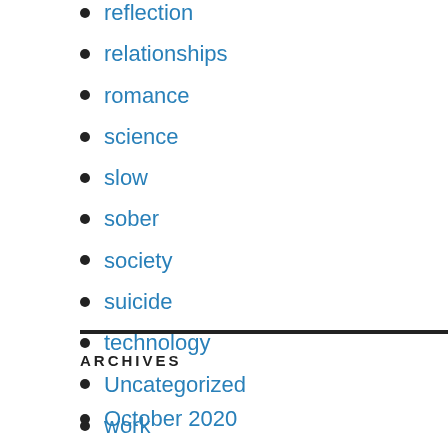reflection
relationships
romance
science
slow
sober
society
suicide
technology
Uncategorized
work
ARCHIVES
October 2020